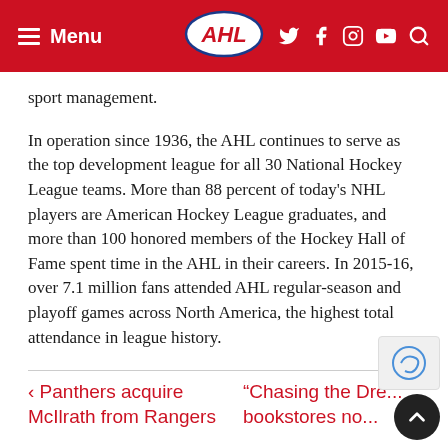Menu | AHL | (social icons)
sport management.
In operation since 1936, the AHL continues to serve as the top development league for all 30 National Hockey League teams. More than 88 percent of today's NHL players are American Hockey League graduates, and more than 100 honored members of the Hockey Hall of Fame spent time in the AHL in their careers. In 2015-16, over 7.1 million fans attended AHL regular-season and playoff games across North America, the highest total attendance in league history.
< Panthers acquire McIlrath from Rangers
“Chasing the Dre... bookstores no...